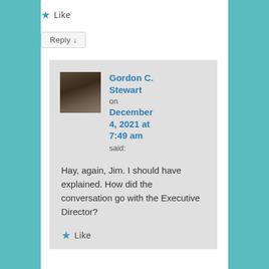★ Like
Reply ↓
Gordon C. Stewart on December 4, 2021 at 7:49 am said:
Hay, again, Jim. I should have explained. How did the conversation go with the Executive Director?
★ Like